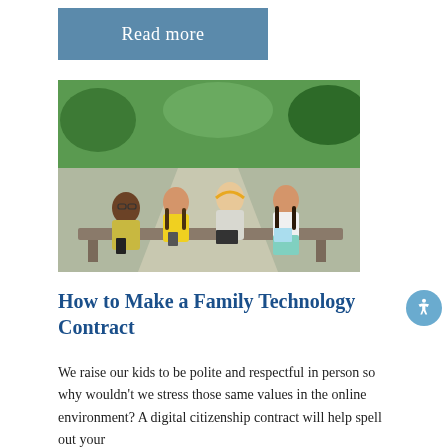Read more
[Figure (photo): Four children sitting on a bench outdoors in a park, each looking at a smartphone or tablet device. They are diverse in appearance; the setting shows green trees and a pathway in the background.]
How to Make a Family Technology Contract
We raise our kids to be polite and respectful in person so why wouldn't we stress those same values in the online environment? A digital citizenship contract will help spell out your